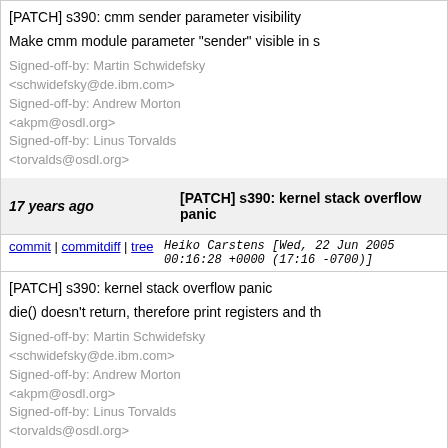[PATCH] s390: cmm sender parameter visibility

Make cmm module parameter "sender" visible in s

Signed-off-by: Martin Schwidefsky <schwidefsky@de.ibm.com>
Signed-off-by: Andrew Morton <akpm@osdl.org>
Signed-off-by: Linus Torvalds <torvalds@osdl.org>
17 years ago   [PATCH] s390: kernel stack overflow panic
commit | commitdiff | tree   Heiko Carstens [Wed, 22 Jun 2005 00:16:28 +0000 (17:16 -0700)]
[PATCH] s390: kernel stack overflow panic

die() doesn't return, therefore print registers and th

Signed-off-by: Martin Schwidefsky <schwidefsky@de.ibm.com>
Signed-off-by: Andrew Morton <akpm@osdl.org>
Signed-off-by: Linus Torvalds <torvalds@osdl.org>
17 years ago   [PATCH] s390: #ifdefs in compat_ioctls
commit | commitdiff | tree   Martin Schwidefsky [Wed, 22 Jun 2005